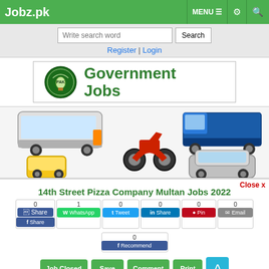Jobz.pk   MENU ☰  ⚙  🔍
Write search word  Search
Register | Login
[Figure (illustration): Government Jobs banner with emblem logo and green bold text]
[Figure (photo): Collage of vehicles: bus, motorcycle, truck, auto-rickshaw, car]
14th Street Pizza Company Multan Jobs 2022
Close x
0  Share (Facebook)   1  WhatsApp   0  Tweet   0  Share (LinkedIn)   0  Pin   0  Email
0  Recommend
Job Closed   Save   Comment   Print   ^